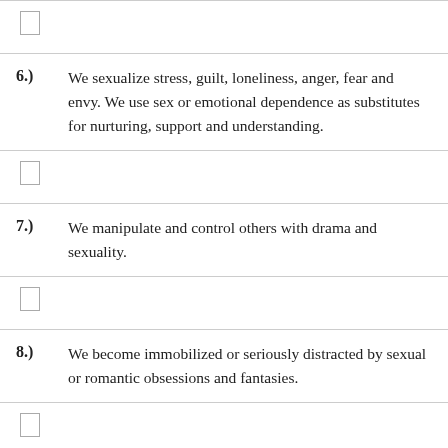6.) We sexualize stress, guilt, loneliness, anger, fear and envy. We use sex or emotional dependence as substitutes for nurturing, support and understanding.
7.) We manipulate and control others with drama and sexuality.
8.) We become immobilized or seriously distracted by sexual or romantic obsessions and fantasies.